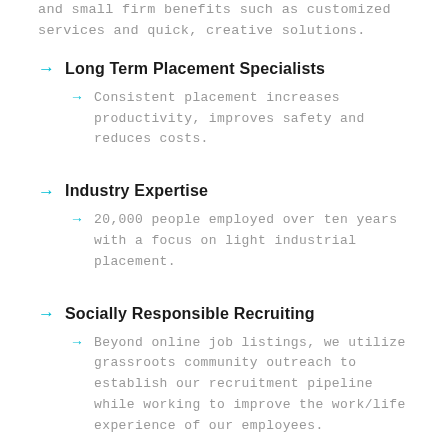and small firm benefits such as customized services and quick, creative solutions.
Long Term Placement Specialists
Consistent placement increases productivity, improves safety and reduces costs.
Industry Expertise
20,000 people employed over ten years with a focus on light industrial placement.
Socially Responsible Recruiting
Beyond online job listings, we utilize grassroots community outreach to establish our recruitment pipeline while working to improve the work/life experience of our employees.